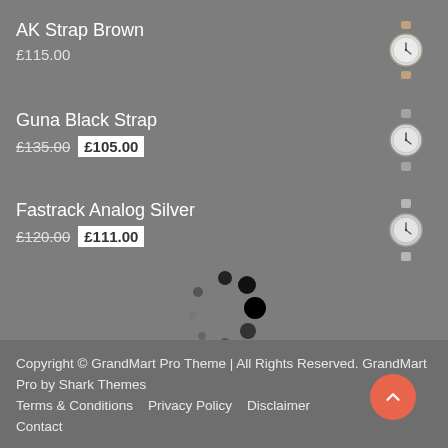AK Strap Brown
£115.00
Guna Black Strap
£135.00  £105.00
Fastrack Analog Silver
£120.00  £111.00
[Figure (illustration): Loading spinner dots animation]
Copyright © GrandMart Pro Theme | All Rights Reserved. GrandMart Pro by Shark Themes
Terms & Conditions   Privacy Policy   Disclaimer
Contact